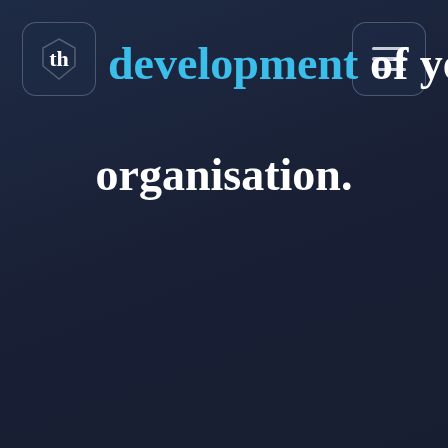[Figure (logo): Circular logo with 'th' monogram inside a hexagonal shield shape, white on dark blue, displayed in a rounded rectangle nav button]
development of your organisation.
[Figure (other): Hamburger menu icon with three horizontal lines in a rounded rectangle nav button]